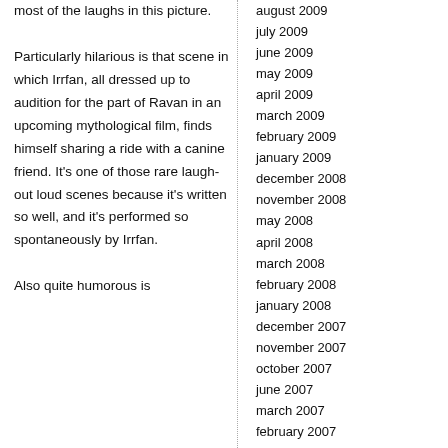most of the laughs in this picture.

Particularly hilarious is that scene in which Irrfan, all dressed up to audition for the part of Ravan in an upcoming mythological film, finds himself sharing a ride with a canine friend. It's one of those rare laugh-out loud scenes because it's written so well, and it's performed so spontaneously by Irrfan.

Also quite humorous is
august 2009
july 2009
june 2009
may 2009
april 2009
march 2009
february 2009
january 2009
december 2008
november 2008
may 2008
april 2008
march 2008
february 2008
january 2008
december 2007
november 2007
october 2007
june 2007
march 2007
february 2007
january 2007
december 2006
november 2006
june 2003
meta:
log in
rss
comments rss
valid xhtml
xfn